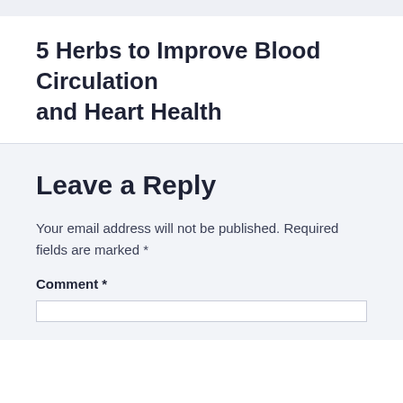5 Herbs to Improve Blood Circulation and Heart Health
Leave a Reply
Your email address will not be published. Required fields are marked *
Comment *